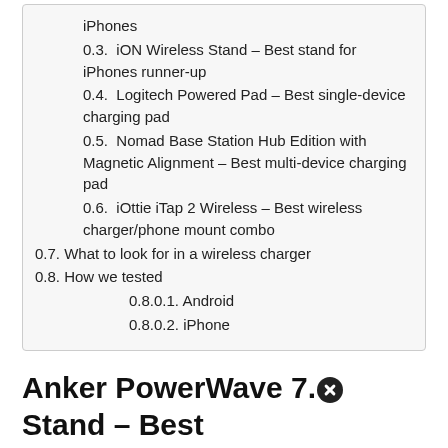iPhones
0.3.  iON Wireless Stand – Best stand for iPhones runner-up
0.4.  Logitech Powered Pad – Best single-device charging pad
0.5.  Nomad Base Station Hub Edition with Magnetic Alignment – Best multi-device charging pad
0.6.  iOttie iTap 2 Wireless – Best wireless charger/phone mount combo
0.7. What to look for in a wireless charger
0.8. How we tested
0.8.0.1. Android
0.8.0.2. iPhone
Anker PowerWave 7.5 Stand – Best